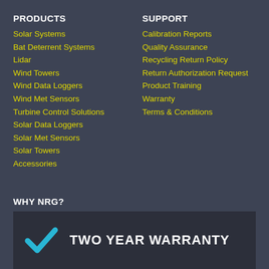PRODUCTS
Solar Systems
Bat Deterrent Systems
Lidar
Wind Towers
Wind Data Loggers
Wind Met Sensors
Turbine Control Solutions
Solar Data Loggers
Solar Met Sensors
Solar Towers
Accessories
SUPPORT
Calibration Reports
Quality Assurance
Recycling Return Policy
Return Authorization Request
Product Training
Warranty
Terms & Conditions
WHY NRG?
TWO YEAR WARRANTY